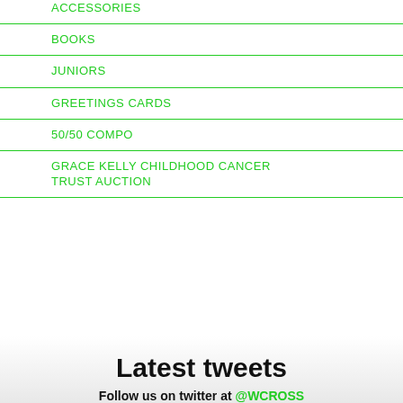ACCESSORIES
BOOKS
JUNIORS
GREETINGS CARDS
50/50 COMPO
GRACE KELLY CHILDHOOD CANCER TRUST AUCTION
Latest tweets
Follow us on twitter at @WCROSS...